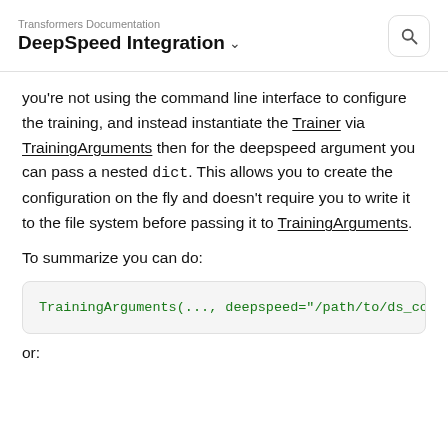Transformers Documentation
DeepSpeed Integration
you're not using the command line interface to configure the training, and instead instantiate the Trainer via TrainingArguments then for the deepspeed argument you can pass a nested dict. This allows you to create the configuration on the fly and doesn't require you to write it to the file system before passing it to TrainingArguments.
To summarize you can do:
TrainingArguments(..., deepspeed="/path/to/ds_confi
or: